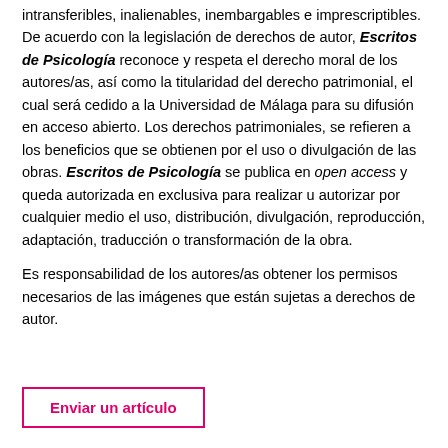intransferibles, inalienables, inembargables e imprescriptibles. De acuerdo con la legislación de derechos de autor, Escritos de Psicología reconoce y respeta el derecho moral de los autores/as, así como la titularidad del derecho patrimonial, el cual será cedido a la Universidad de Málaga para su difusión en acceso abierto. Los derechos patrimoniales, se refieren a los beneficios que se obtienen por el uso o divulgación de las obras. Escritos de Psicología se publica en open access y queda autorizada en exclusiva para realizar u autorizar por cualquier medio el uso, distribución, divulgación, reproducción, adaptación, traducción o transformación de la obra.
Es responsabilidad de los autores/as obtener los permisos necesarios de las imágenes que están sujetas a derechos de autor.
Enviar un artículo